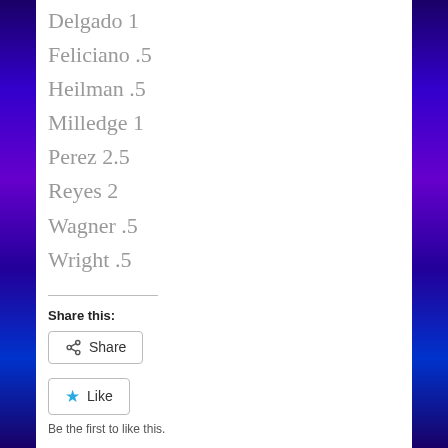Delgado 1
Feliciano .5
Heilman .5
Milledge 1
Perez 2.5
Reyes 2
Wagner .5
Wright .5
Share this:
Share
Like
Be the first to like this.